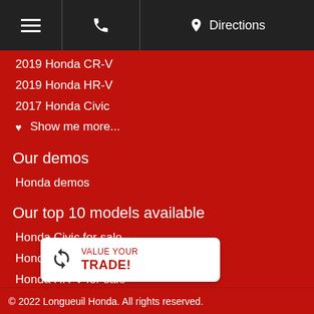Menu | Phone | Directions
2019 Honda CR-V
2019 Honda HR-V
2017 Honda Civic
Show me more...
Our demos
Honda demos
Our top 10 models available
Honda Civic for sale
Honda CR-V for sale
Honda HR-V for sale
[Figure (infographic): VALUE YOUR TRADE! widget with recycle/trade icon]
© 2022 Longueuil Honda. All rights reserved.